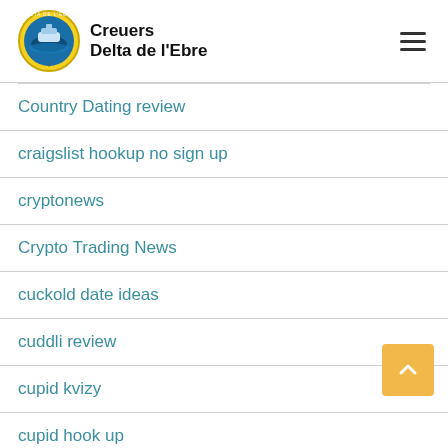Creuers Delta de l'Ebre
Country Dating review
craigslist hookup no sign up
cryptonews
Crypto Trading News
cuckold date ideas
cuddli review
cupid kvizy
cupid hook up